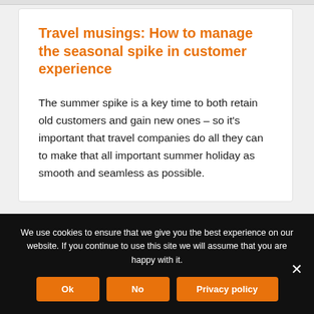Travel musings: How to manage the seasonal spike in customer experience
The summer spike is a key time to both retain old customers and gain new ones – so it's important that travel companies do all they can to make that all important summer holiday as smooth and seamless as possible.
We use cookies to ensure that we give you the best experience on our website. If you continue to use this site we will assume that you are happy with it.